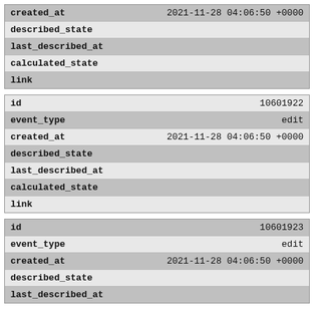| field | value |
| --- | --- |
| created_at | 2021-11-28 04:06:50 +0000 |
| described_state |  |
| last_described_at |  |
| calculated_state |  |
| link |  |
| field | value |
| --- | --- |
| id | 10601922 |
| event_type | edit |
| created_at | 2021-11-28 04:06:50 +0000 |
| described_state |  |
| last_described_at |  |
| calculated_state |  |
| link |  |
| field | value |
| --- | --- |
| id | 10601923 |
| event_type | edit |
| created_at | 2021-11-28 04:06:50 +0000 |
| described_state |  |
| last_described_at |  |